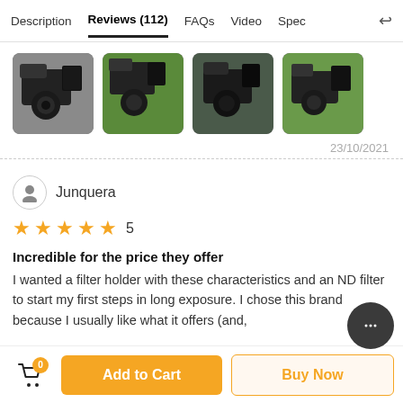Description | Reviews (112) | FAQs | Video | Spec
[Figure (photo): Four thumbnail photos of a camera with filter holder accessory attached, shown from various angles.]
23/10/2021
Junquera
★★★★★ 5
Incredible for the price they offer
I wanted a filter holder with these characteristics and an ND filter to start my first steps in long exposure. I chose this brand because I usually like what it offers (and,